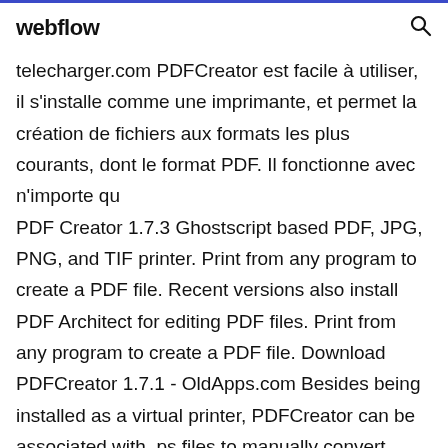webflow
telecharger.com PDFCreator est facile à utiliser, il s'installe comme une imprimante, et permet la création de fichiers aux formats les plus courants, dont le format PDF. Il fonctionne avec n'importe qu
PDF Creator 1.7.3 Ghostscript based PDF, JPG, PNG, and TIF printer. Print from any program to create a PDF file. Recent versions also install PDF Architect for editing PDF files. Print from any program to create a PDF file. Download PDFCreator 1.7.1 - OldApps.com Besides being installed as a virtual printer, PDFCreator can be associated with .ps files to manually convert PostScript to PDF format. PDFCreator can